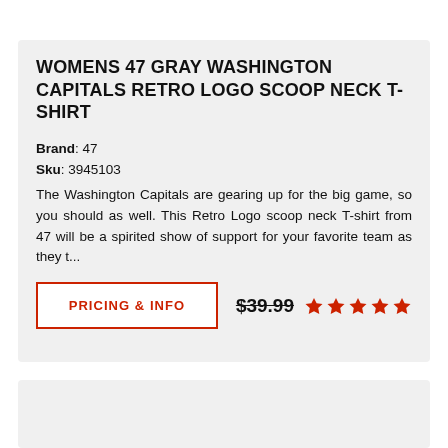WOMENS 47 GRAY WASHINGTON CAPITALS RETRO LOGO SCOOP NECK T-SHIRT
Brand: 47
Sku: 3945103
The Washington Capitals are gearing up for the big game, so you should as well. This Retro Logo scoop neck T-shirt from 47 will be a spirited show of support for your favorite team as they t...
PRICING & INFO
$39.99